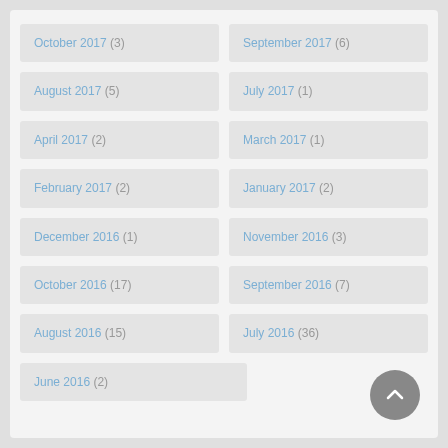October 2017 (3)
September 2017 (6)
August 2017 (5)
July 2017 (1)
April 2017 (2)
March 2017 (1)
February 2017 (2)
January 2017 (2)
December 2016 (1)
November 2016 (3)
October 2016 (17)
September 2016 (7)
August 2016 (15)
July 2016 (36)
June 2016 (2)